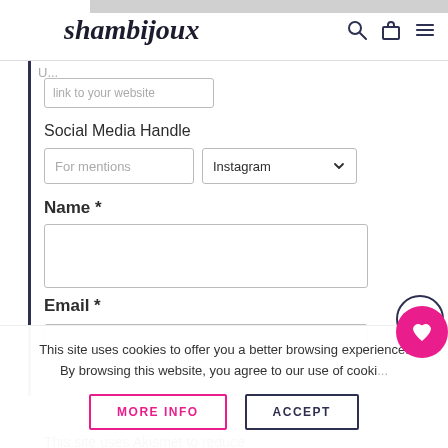shambijoux
link to your website
Social Media Handle
For mentions | Instagram
Name *
Email *
This site uses cookies to offer you a better browsing experience. By browsing this website, you agree to our use of cookies.
MORE INFO
ACCEPT
This site uses Akismet to reduce